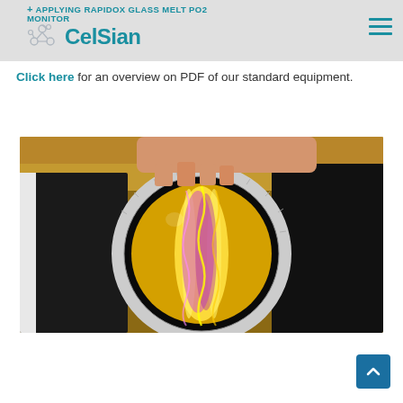+ APPLYING RAPIDOX GLASS MELT PO2 MONITOR — CelSian
Click here for an overview on PDF of our standard equipment.
[Figure (photo): Close-up photograph of a circular optical lens or filter instrument showing vivid yellow and purple light patterns inside the lens, held over a black surface. A hand is visible at the top edge touching the device. The outer ring of the lens has measurement markings.]